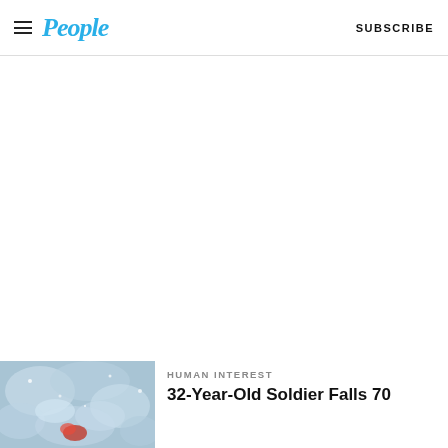People — SUBSCRIBE
[Figure (other): Blank white advertisement area]
Ad
[Figure (photo): Snowy/icy outdoor scene, soldier in red jacket amid snow]
HUMAN INTEREST
32-Year-Old Soldier Falls 70